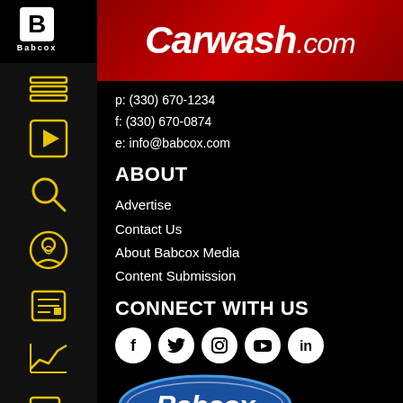[Figure (logo): Babcox logo on black sidebar top, white B with Babcox text]
[Figure (logo): Carwash.com header logo on red gradient bar, white italic text]
[Figure (infographic): Yellow sidebar icons: hamburger menu, play button, search, podcast/person, newspaper, trend chart, dollar search]
p: (330) 670-1234
f: (330) 670-0874
e: info@babcox.com
ABOUT
Advertise
Contact Us
About Babcox Media
Content Submission
CONNECT WITH US
[Figure (infographic): Social media icons row: Facebook, Twitter, Instagram, YouTube, LinkedIn — white circles on black background]
[Figure (logo): Babcox oval blue logo with white italic Babcox text]